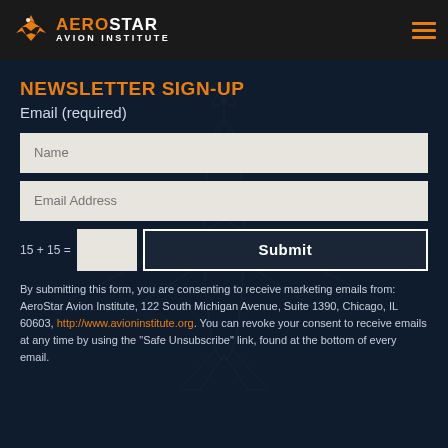AEROSTAR AVION INSTITUTE
NEWSLETTER SIGN-UP
Email (required)
Name [input field]
Email Address [input field]
15 + 15 = [captcha input] Submit
By submitting this form, you are consenting to receive marketing emails from: AeroStar Avion Institute, 122 South Michigan Avenue, Suite 1390, Chicago, IL 60603, http://www.avioninstitute.org. You can revoke your consent to receive emails at any time by using the "Safe Unsubscribe" link, found at the bottom of every email.